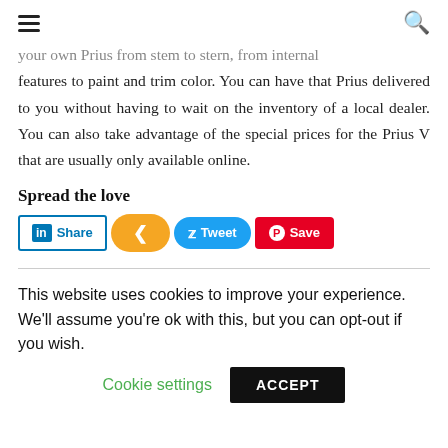☰  🔍
your own Prius from stem to stern, from internal features to paint and trim color. You can have that Prius delivered to you without having to wait on the inventory of a local dealer. You can also take advantage of the special prices for the Prius V that are usually only available online.
Spread the love
[Figure (infographic): Social sharing buttons: LinkedIn Share (blue outline), orange share button with arrow icon, blue Tweet button with Twitter bird, red Save button with Pinterest icon]
This website uses cookies to improve your experience. We'll assume you're ok with this, but you can opt-out if you wish.
Cookie settings   ACCEPT